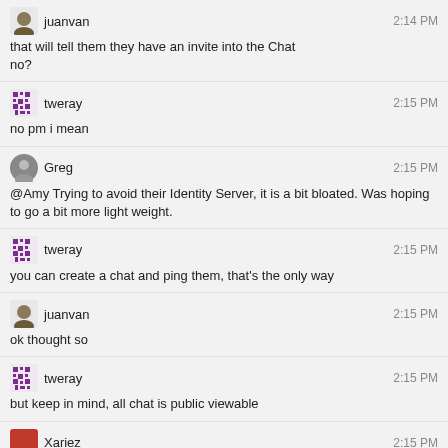juanvan 2:14 PM
that will tell them they have an invite into the Chat
no?
tweray 2:15 PM
no pm i mean
Greg 2:15 PM
@Amy Trying to avoid their Identity Server, it is a bit bloated. Was hoping to go a bit more light weight.
tweray 2:15 PM
you can create a chat and ping them, that's the only way
juanvan 2:15 PM
ok thought so
tweray 2:15 PM
but keep in mind, all chat is public viewable
Xariez 2:15 PM
Alright. How do i go about pinging them, then?
user47589 2:15 PM
usernames aren't unique. there's another "Amy" out there
tweray 2:16 PM
@Xariez